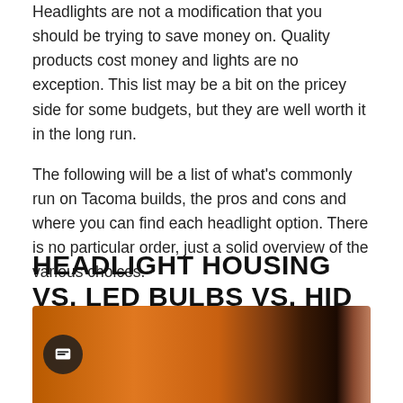Headlights are not a modification that you should be trying to save money on. Quality products cost money and lights are no exception. This list may be a bit on the pricey side for some budgets, but they are well worth it in the long run.
The following will be a list of what's commonly run on Tacoma builds, the pros and cons and where you can find each headlight option. There is no particular order, just a solid overview of the various choices.
HEADLIGHT HOUSING VS. LED BULBS VS. HID UPGRADE
[Figure (photo): Close-up photo of a vehicle headlight/front end area with orange and brown tones, partially visible. A dark circular chat/comment icon is visible on the left side of the image.]